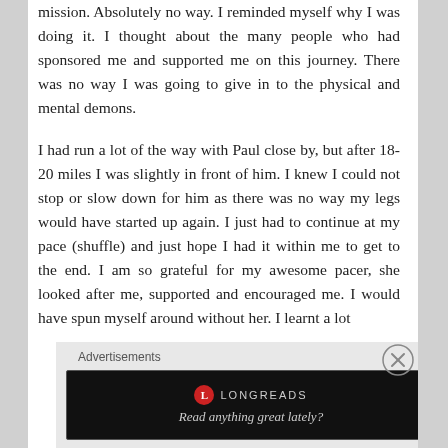mission. Absolutely no way. I reminded myself why I was doing it. I thought about the many people who had sponsored me and supported me on this journey. There was no way I was going to give in to the physical and mental demons.
I had run a lot of the way with Paul close by, but after 18-20 miles I was slightly in front of him. I knew I could not stop or slow down for him as there was no way my legs would have started up again. I just had to continue at my pace (shuffle) and just hope I had it within me to get to the end. I am so grateful for my awesome pacer, she looked after me, supported and encouraged me. I would have spun myself around without her. I learnt a lot
Advertisements
[Figure (other): Longreads advertisement banner with logo and tagline 'Read anything great lately?' on black background]